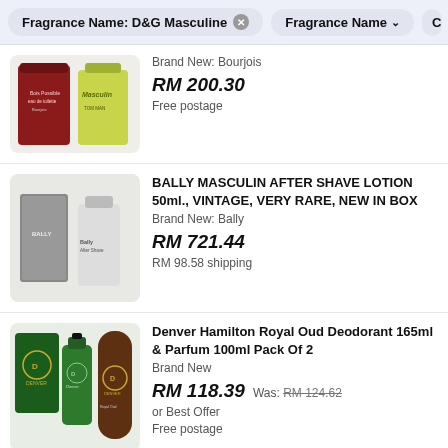Fragrance Name: D&G Masculine ✕  Fragrance Name ∨  C
[Figure (photo): Product photo of two fragrance bottles - a red/maroon eau de toilette and a green Masculin bottle by Bourjois]
Brand New: Bourjois
RM 200.30
Free postage
[Figure (photo): Product photo of Bally Masculin after shave lotion boxes and bottles in grey/silver tones]
BALLY MASCULIN AFTER SHAVE LOTION 50ml., VINTAGE, VERY RARE, NEW IN BOX
Brand New: Bally
RM 721.44
RM 98.58 shipping
[Figure (photo): Product photo of Denver Hamilton Royal Oud green perfume bottle and brown deodorant can]
Denver Hamilton Royal Oud Deodorant 165ml & Parfum 100ml Pack Of 2
Brand New
RM 118.39  Was: RM 124.62
or Best Offer
Free postage
Dolce & Gabbana D&G Masculine Eau de